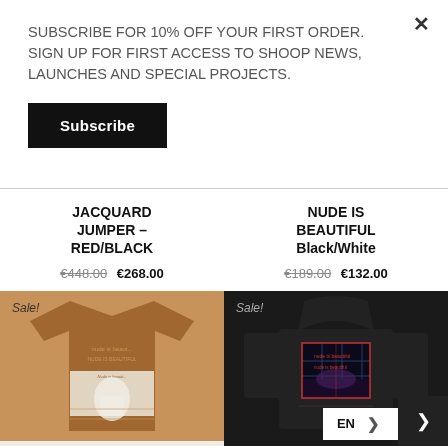SUBSCRIBE FOR 10% OFF YOUR FIRST ORDER. SIGN UP FOR FIRST ACCESS TO SHOOP NEWS, LAUNCHES AND SPECIAL PROJECTS.
Subscribe
JACQUARD JUMPER – RED/BLACK
€448.00  €268.00
NUDE IS BEAUTIFUL Black/White
€189.00  €132.00
Sale!
[Figure (photo): Brown/tan knit jumper with text graphic print]
Sale!
[Figure (photo): Black hoodie with graphic print on front]
EN